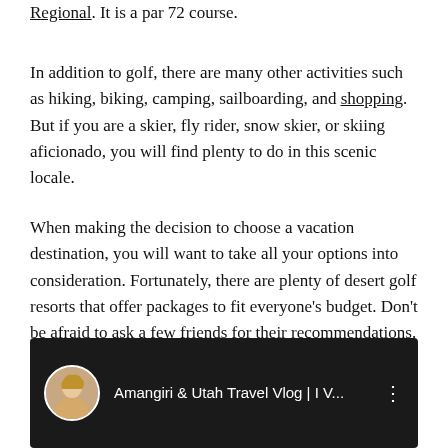Regional. It is a par 72 course.
In addition to golf, there are many other activities such as hiking, biking, camping, sailboarding, and shopping. But if you are a skier, fly rider, snow skier, or skiing aficionado, you will find plenty to do in this scenic locale.
When making the decision to choose a vacation destination, you will want to take all your options into consideration. Fortunately, there are plenty of desert golf resorts that offer packages to fit everyone's budget. Don't be afraid to ask a few friends for their recommendations. As long as you plan carefully and choose wisely, you will have a great time and create memories to last a lifetime.
[Figure (screenshot): YouTube video thumbnail showing 'Amangiri & Utah Travel Vlog | I V...' with a circular avatar of a blonde woman on the left, video title text in white on dark background, and a three-dot menu icon on the right.]